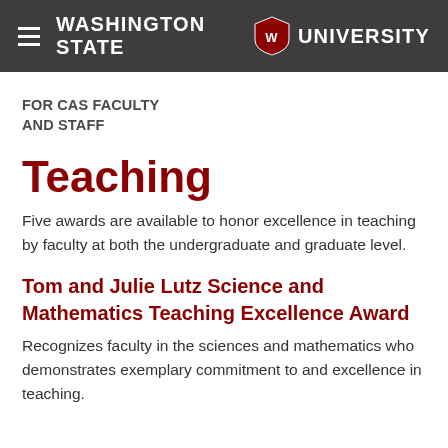Washington State University
FOR CAS FACULTY AND STAFF
Teaching
Five awards are available to honor excellence in teaching by faculty at both the undergraduate and graduate level.
Tom and Julie Lutz Science and Mathematics Teaching Excellence Award
Recognizes faculty in the sciences and mathematics who demonstrates exemplary commitment to and excellence in teaching.